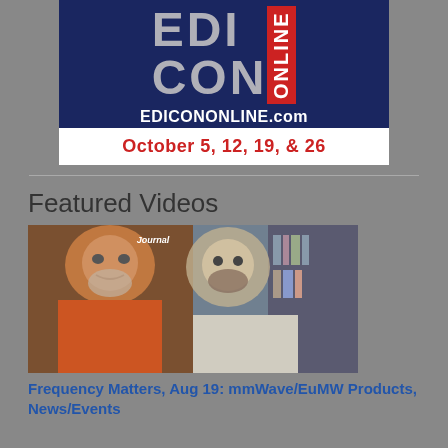[Figure (logo): EDI CON Online conference banner advertisement with blue background showing 'EDI CON ONLINE' logo, EDICONONLINE.com URL, and event dates October 5, 12, 19, & 26 on white bar]
Featured Videos
[Figure (photo): Video thumbnail showing two men in a split-screen format, left person in orange shirt with gray hair and beard, right person in light shirt with dark beard, with 'Journal' text visible in background]
Frequency Matters, Aug 19: mmWave/EuMW Products, News/Events